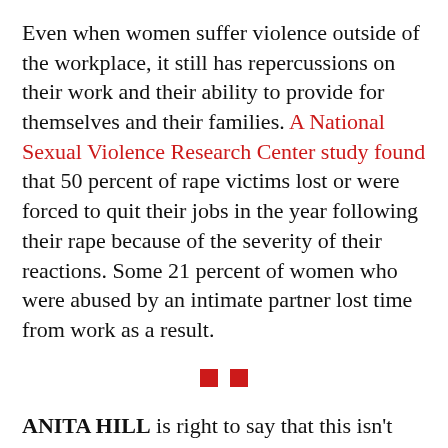Even when women suffer violence outside of the workplace, it still has repercussions on their work and their ability to provide for themselves and their families. A National Sexual Violence Research Center study found that 50 percent of rape victims lost or were forced to quit their jobs in the year following their rape because of the severity of their reactions. Some 21 percent of women who were abused by an intimate partner lost time from work as a result.
[Figure (other): Two small red squares serving as a section divider]
ANITA HILL is right to say that this isn't about "men behaving badly" or, in this case, one particularly repulsive man behaving particularly badly. It is, or should be, about the ways in which sexism, sexual assault, harassment and violence have cumulative impacts that profoundly affect all aspects of women's lives.
So do women — they could be at their jobs...